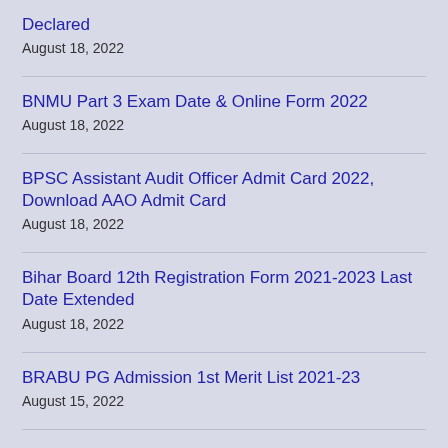Declared
August 18, 2022
BNMU Part 3 Exam Date & Online Form 2022
August 18, 2022
BPSC Assistant Audit Officer Admit Card 2022, Download AAO Admit Card
August 18, 2022
Bihar Board 12th Registration Form 2021-2023 Last Date Extended
August 18, 2022
BRABU PG Admission 1st Merit List 2021-23
August 15, 2022
BRABU Admit Card 2022- PG 3rd Semester 2019-21
August 14, 2022
Home   About   Contact
2022 © PU News